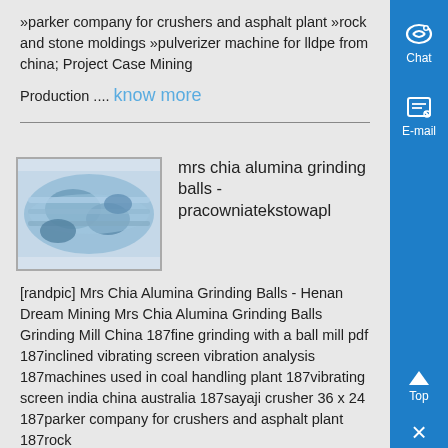»parker company for crushers and asphalt plant »rock and stone moldings »pulverizer machine for lldpe from china; Project Case Mining
Production .... know more
[Figure (photo): Blue ceramic or industrial grinding balls/components in a mill]
mrs chia alumina grinding balls - pracowniatekstowapl
[randpic] Mrs Chia Alumina Grinding Balls - Henan Dream Mining Mrs Chia Alumina Grinding Balls Grinding Mill China 187fine grinding with a ball mill pdf 187inclined vibrating screen vibration analysis 187machines used in coal handling plant 187vibrating screen india china australia 187sayaji crusher 36 x 24 187parker company for crushers and asphalt plant 187rock
and stone moldings .... know more